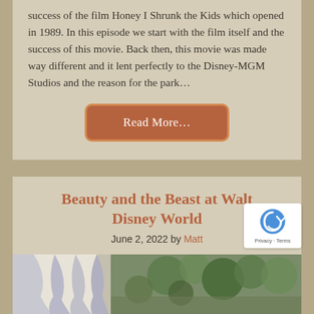...Studios that opened in late 1990, following the success of the film Honey I Shrunk the Kids which opened in 1989. In this episode we start with the film itself and the success of this movie. Back then, this movie was made way different and it lent perfectly to the Disney-MGM Studios and the reason for the park…
Read More...
Beauty and the Beast at Walt Disney World
June 2, 2022 by Matt
[Figure (photo): Photo showing draped curtains/fabric and greenery, partially visible at the bottom of the page]